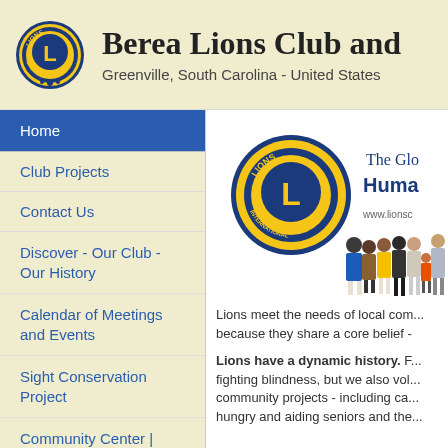Berea Lions Club and
Greenville, South Carolina - United States
Home
Club Projects
Contact Us
Discover - Our Club - Our History
Calendar of Meetings and Events
Sight Conservation Project
Community Center | Ethics & Objective
Meetings
When:
[Figure (screenshot): Lions International promotional banner showing Lions logo and diverse group of people, with text 'The Glo...' and 'Huma...' and 'www.lionscl...']
Lions meet the needs of local com... because they share a core belief -
Lions have a dynamic history. F... fighting blindness, but we also vol... community projects - including ca... hungry and aiding seniors and the...